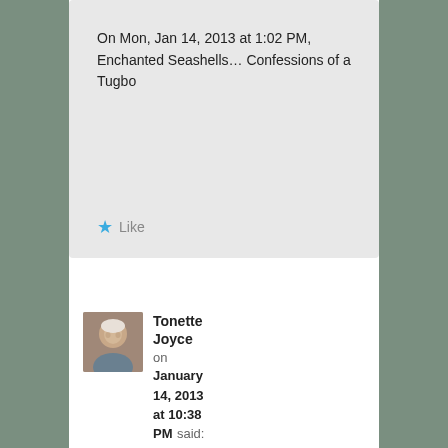On Mon, Jan 14, 2013 at 1:02 PM, Enchanted Seashells... Confessions of a Tugbo
★ Like
Tonette Joyce on January 14, 2013 at 10:38 PM said:
I sliced two